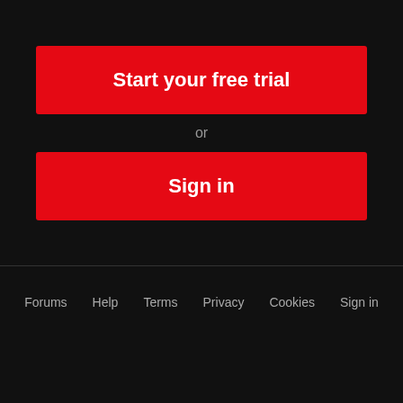Start your free trial
or
Sign in
Forums   Help   Terms   Privacy   Cookies   Sign in